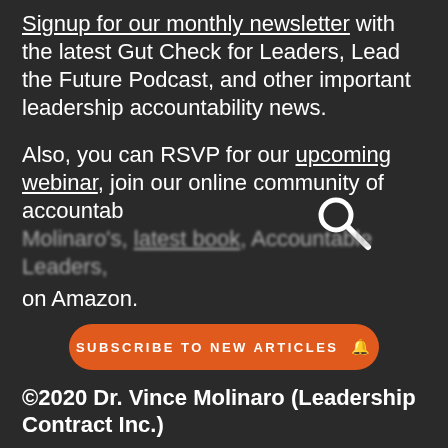Signup for our monthly newsletter with the latest Gut Check for Leaders, Lead the Future Podcast, and other important leadership accountability news.
Also, you can RSVP for our upcoming webinar, join our online community of accountab Molinaro's, latest book, Accountable Leaders, on Amazon.
[Figure (illustration): Search icon (magnifying glass) overlapping the text]
SUBSCRIBE TO NEW ARTICLES 🔔
©2020 Dr. Vince Molinaro (Leadership Contract Inc.)